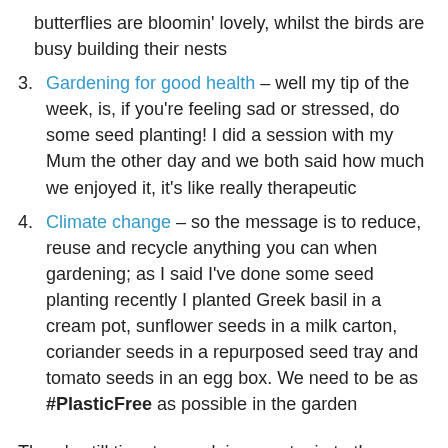butterflies are bloomin' lovely, whilst the birds are busy building their nests
3. Gardening for good health – well my tip of the week, is, if you're feeling sad or stressed, do some seed planting! I did a session with my Mum the other day and we both said how much we enjoyed it, it's like really therapeutic
4. Climate change – so the message is to reduce, reuse and recycle anything you can when gardening; as I said I've done some seed planting recently I planted Greek basil in a cream pot, sunflower seeds in a milk carton, coriander seeds in a repurposed seed tray and tomato seeds in an egg box. We need to be as #PlasticFree as possible in the garden
There's still time to sneak in an entry in to the School Gardener of the Year Competition, haring details